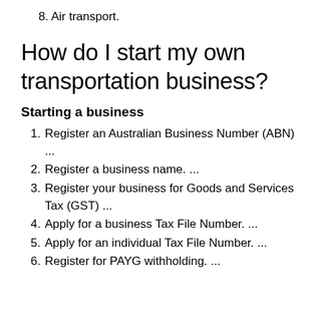8. Air transport.
How do I start my own transportation business?
Starting a business
1. Register an Australian Business Number (ABN) ...
2. Register a business name. ...
3. Register your business for Goods and Services Tax (GST) ...
4. Apply for a business Tax File Number. ...
5. Apply for an individual Tax File Number. ...
6. Register for PAYG withholding. ...
7. ...